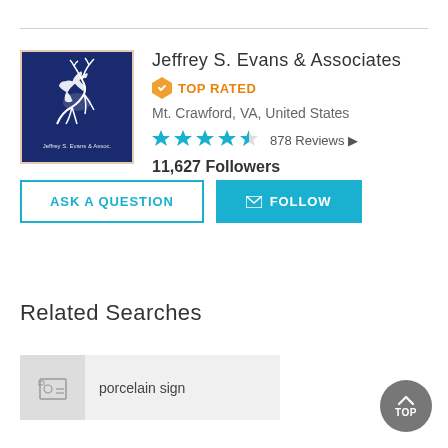[Figure (logo): Jeffrey S. Evans & Associates logo — navy blue square with white leaping deer and text 'Jeffrey S. Evans & Assoc.' at bottom]
Jeffrey S. Evans & Associates
TOP RATED
Mt. Crawford, VA, United States
★★★★★ 878 Reviews ▶
11,627 Followers
ASK A QUESTION
✉ FOLLOW
Related Searches
porcelain sign